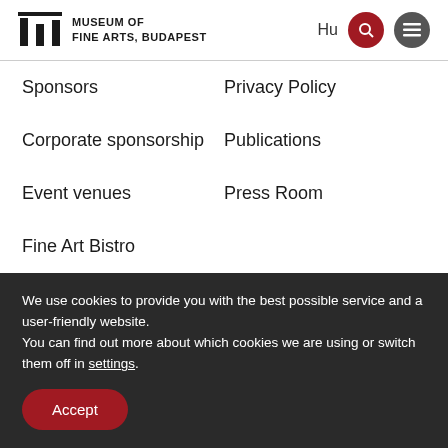Museum of Fine Arts, Budapest
Sponsors
Privacy Policy
Corporate sponsorship
Publications
Event venues
Press Room
Fine Art Bistro
<×××××>
Internship
We use cookies to provide you with the best possible service and a user-friendly website.
You can find out more about which cookies we are using or switch them off in settings.
Accept